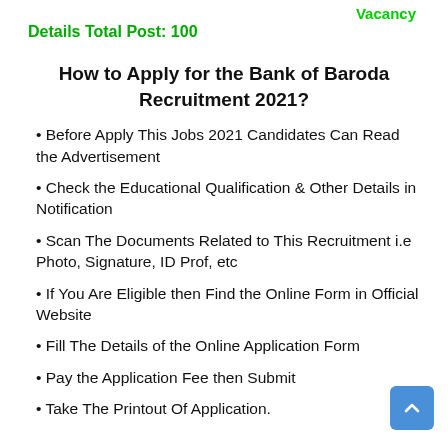Vacancy
Details Total Post: 100
How to Apply for the Bank of Baroda Recruitment 2021?
• Before Apply This Jobs 2021 Candidates Can Read the Advertisement
• Check the Educational Qualification & Other Details in Notification
• Scan The Documents Related to This Recruitment i.e Photo, Signature, ID Prof, etc
• If You Are Eligible then Find the Online Form in Official Website
• Fill The Details of the Online Application Form
• Pay the Application Fee then Submit
• Take The Printout Of Application.